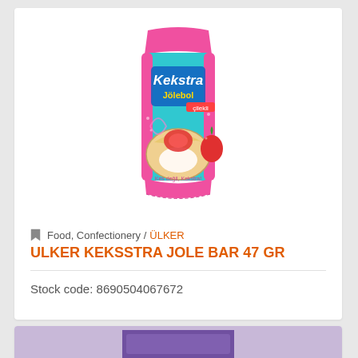[Figure (photo): Product photo of Ulker Kekstra Jolebol candy bar in pink and teal packaging showing a cookie/biscuit with jelly filling and strawberry]
Food, Confectionery / ÜLKER
ULKER KEKSSTRA JOLE BAR 47 GR
Stock code: 8690504067672
[Figure (photo): Partial view of another product in purple packaging at the bottom of the page]